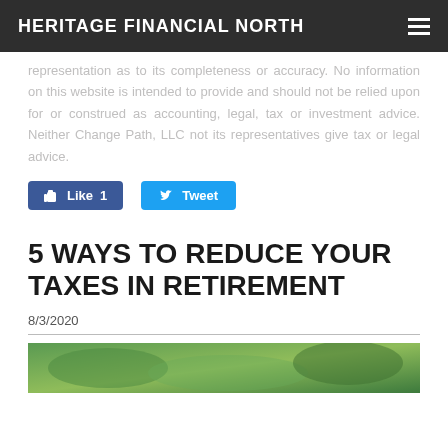HERITAGE FINANCIAL NORTH
representation as to its completeness or accuracy. No information on this website is intended to provide and should not be relied upon for or construed as accounting, legal, tax or investment advice. Neither Change Path, LLC not its representatives give tax or legal advice.
[Figure (other): Social media buttons: Like 1 (Facebook) and Tweet (Twitter)]
5 WAYS TO REDUCE YOUR TAXES IN RETIREMENT
8/3/2020
[Figure (photo): Article header image (partially visible at bottom of page)]